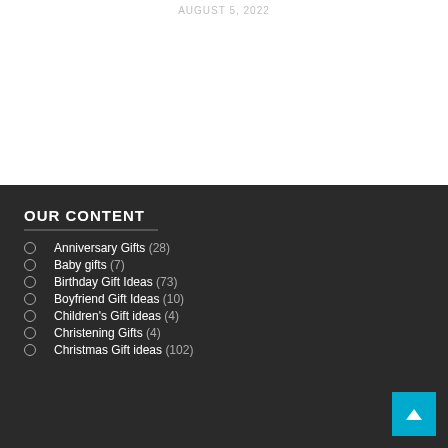AUGUST 5, 2022
OUR CONTENT
Anniversary Gifts (28)
Baby gifts (7)
Birthday Gift Ideas (73)
Boyfriend Gift Ideas (10)
Children's Gift ideas (4)
Christening Gifts (4)
Christmas Gift ideas (102)